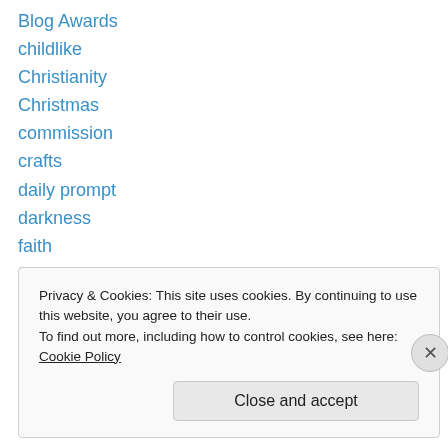Blog Awards
childlike
Christianity
Christmas
commission
crafts
daily prompt
darkness
faith
family
flood
food
glory
Privacy & Cookies: This site uses cookies. By continuing to use this website, you agree to their use.
To find out more, including how to control cookies, see here: Cookie Policy
Close and accept